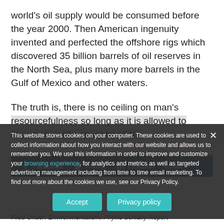world's oil supply would be consumed before the year 2000. Then American ingenuity invented and perfected the offshore rigs which discovered 35 billion barrels of oil reserves in the North Sea, plus many more barrels in the Gulf of Mexico and other waters.
The truth is, there is no ceiling on man's resourcefulness so long as it is allowed to flourish in a climate of freedom.
This website stores cookies on your computer. These cookies are used to collect information about how you interact with our website and allows us to remember you. We use this information in order to improve and customize your browsing experience, for analytics and metrics as well as targeted advertising management including from time to time email marketing. To find out more about the cookies we use, see our Privacy Policy.
Filed Under: Environmentalism, Phyllis Schlafly Report